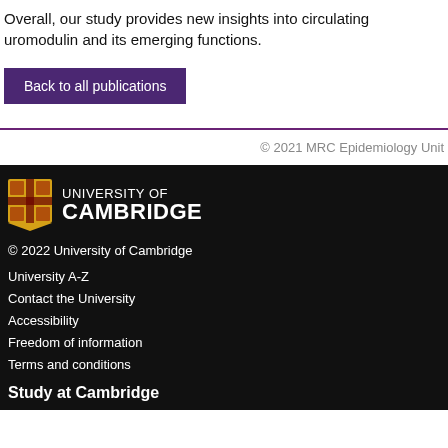Overall, our study provides new insights into circulating uromodulin and its emerging functions.
Back to all publications
© 2021 MRC Epidemiology Unit
[Figure (logo): University of Cambridge logo with shield crest and text]
© 2022 University of Cambridge
University A-Z
Contact the University
Accessibility
Freedom of information
Terms and conditions
Study at Cambridge